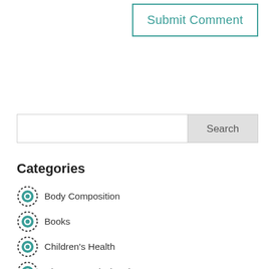Submit Comment
Search
Categories
Body Composition
Books
Children's Health
Diseases and Disorders
Eating Disorders
Exercise